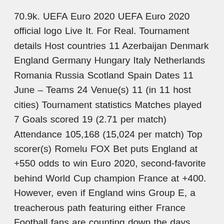70.9k. UEFA Euro 2020 UEFA Euro 2020 official logo Live It. For Real. Tournament details Host countries 11 Azerbaijan Denmark England Germany Hungary Italy Netherlands Romania Russia Scotland Spain Dates 11 June – Teams 24 Venue(s) 11 (in 11 host cities) Tournament statistics Matches played 7 Goals scored 19 (2.71 per match) Attendance 105,168 (15,024 per match) Top scorer(s) Romelu FOX Bet puts England at +550 odds to win Euro 2020, second-favorite behind World Cup champion France at +400. However, even if England wins Group E, a treacherous path featuring either France Football fans are counting down the days until Euro 2020 as Scotland prepare to take part in their first major tournament since 1998. By Graham Falk.